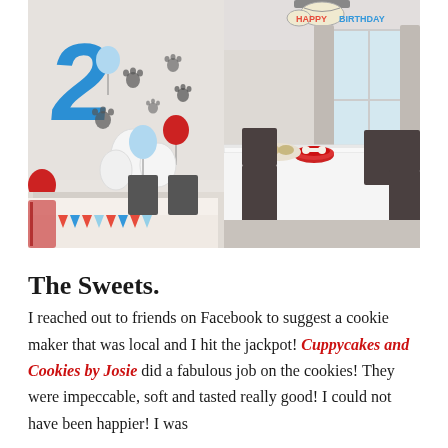[Figure (photo): Two side-by-side birthday party photos. Left photo shows a PAW Patrol themed party with a blue number 2 balloon, red and light blue balloons, paw print decorations on the wall, and a decorated table with party supplies. Right photo shows a dining room with a long white tablecloth table set up for a party, with food bowls and red dog bowl centerpiece, and a 'Happy Birthday' banner hanging from the light fixture.]
The Sweets.
I reached out to friends on Facebook to suggest a cookie maker that was local and I hit the jackpot! Cuppycakes and Cookies by Josie did a fabulous job on the cookies! They were impeccable, soft and tasted really good! I could not have been happier! I was